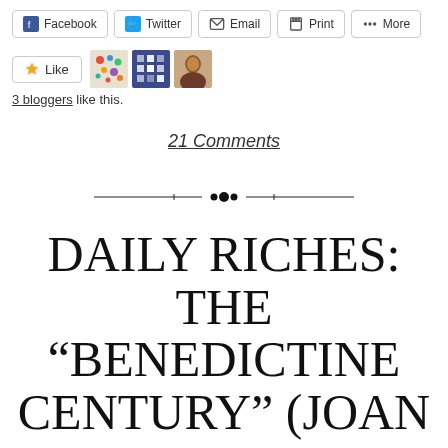[Figure (screenshot): Social sharing bar with Facebook, Twitter, Email, Print, and More buttons]
[Figure (screenshot): Like button with star icon and three blogger avatars]
3 bloggers like this.
21 Comments
[Figure (illustration): Decorative horizontal divider with ornamental dots in the center]
DAILY RICHES: THE “BENEDICTINE CENTURY” (JOAN